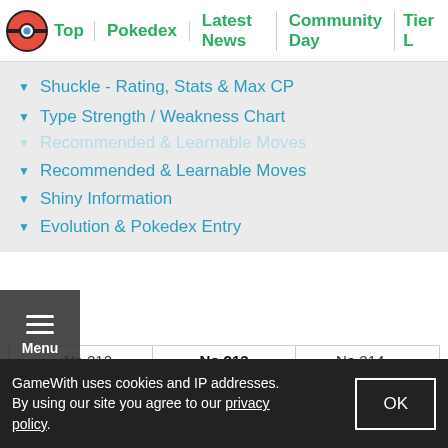Top | Pokedex | Latest News | Community Day | Tier L...
Shuckle - Rating, Stats & Max CP
Type Strength / Weakness Chart
Recommended & Learnable Moves
Shiny Information
Evolution & Pokedex Entry
| ←No.212 | No.213 | No.214→ |
| --- | --- | --- |
| Scizor | Shuckle | Heracross |
Pokemon Go Featured Article
GameWith uses cookies and IP addresses. By using our site you agree to our privacy policy.